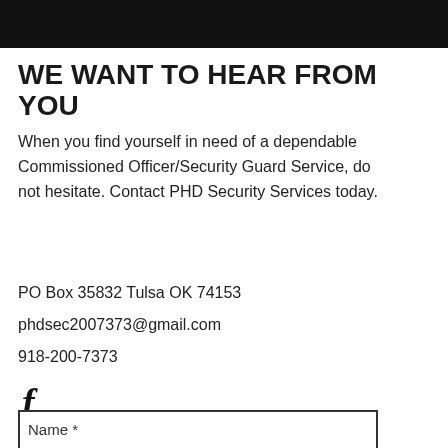[Figure (other): Black banner/header bar at top of page with partial logo visible]
WE WANT TO HEAR FROM YOU
When you find yourself in need of a dependable Commissioned Officer/Security Guard Service, do not hesitate. Contact PHD Security Services today.
PO Box 35832 Tulsa OK 74153
phdsec2007373@gmail.com
918-200-7373
[Figure (logo): Facebook 'f' icon]
Name *